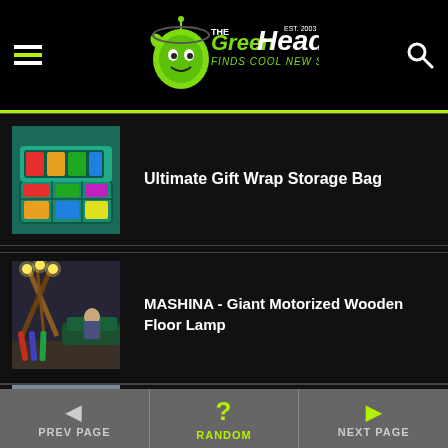The Green Head - Finds Cool New Stuff!
Ultimate Gift Wrap Storage Bag
MASHINA - Giant Motorized Wooden Floor Lamp
(partial, cut off)
PREV PAGE | RANDOM | NEXT PAGE